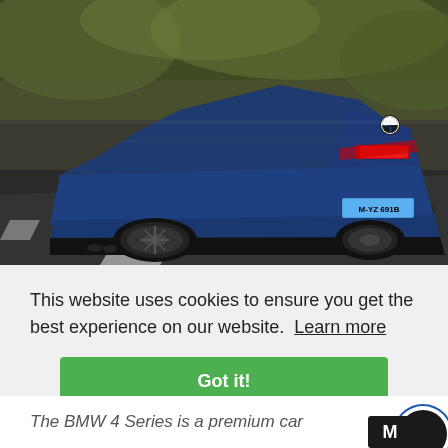[Figure (photo): A blue BMW 4 Series coupe photographed from the rear-three-quarter angle while driving on a road, with motion-blurred trees in the background. License plate reads M-YZ 691B.]
This website uses cookies to ensure you get the best experience on our website. Learn more
Got it!
The BMW 4 Series is a premium car